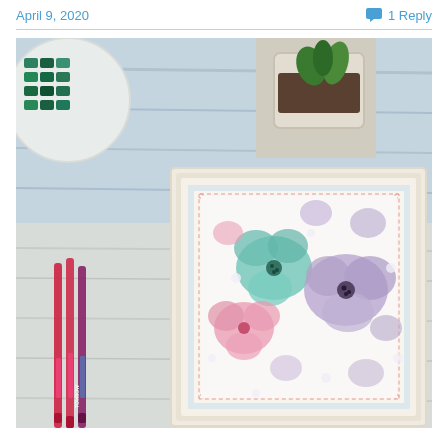April 9, 2020   1 Reply
[Figure (photo): A framed watercolor painting of hydrangea flowers in pastel pink, purple, teal and lavender colors, displayed on a white wooden surface alongside art markers/pens and a watercolor palette with green paints. A small potted plant is visible in the background.]